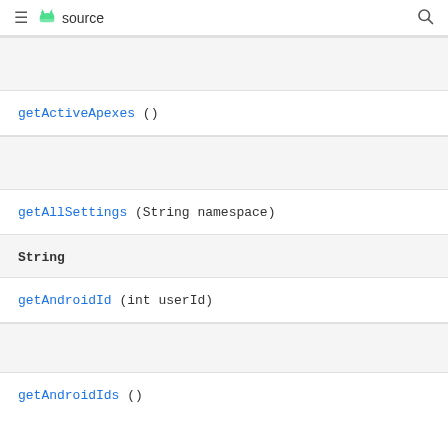≡ source 🔍
getActiveApexes ()
getAllSettings (String namespace)
String
getAndroidId (int userId)
getAndroidIds ()